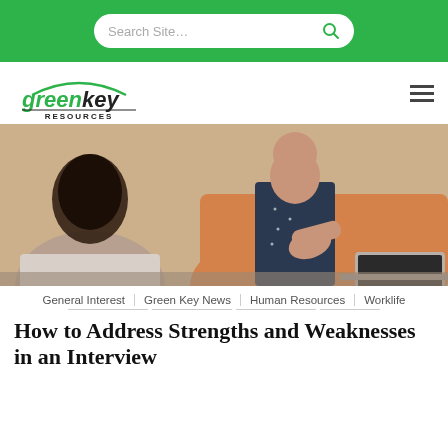Search Site...
[Figure (logo): Green Key Resources logo with green arc over text]
[Figure (photo): Two women in a professional interview setting, one in an orange cardigan gesturing with her hands, the other facing away with dark hair, a laptop visible on the desk]
General Interest  Green Key News  Human Resources  Worklife
How to Address Strengths and Weaknesses in an Interview